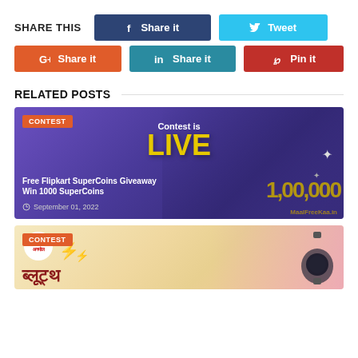SHARE THIS
Share it (Facebook)
Tweet
G+ Share it
in Share it
Pin it
RELATED POSTS
[Figure (photo): Contest is LIVE banner for Free Flipkart SuperCoins Giveaway with purple/blue gradient background showing large yellow LIVE text and gold number 1,00,000]
Free Flipkart SuperCoins Giveaway Win 1000 SuperCoins
September 01, 2022
[Figure (photo): Contest banner with ZEE Anmol branding on yellow/pink gradient background with Hindi text and lightning bolt decorations]